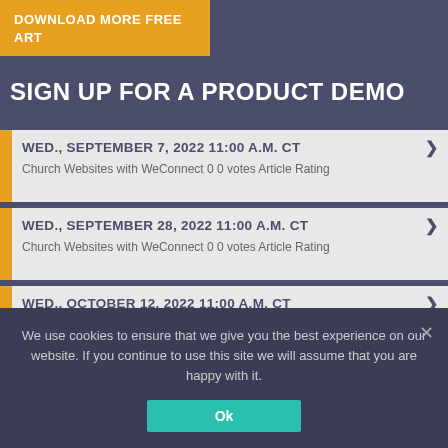DOWNLOAD MORE FREE ART
SIGN UP FOR A PRODUCT DEMO
WED., SEPTEMBER 7, 2022 11:00 A.M. CT › Church Websites with WeConnect 0 0 votes Article Rating
WED., SEPTEMBER 28, 2022 11:00 A.M. CT › Church Websites with WeConnect 0 0 votes Article Rating
WED., OCTOBER 12, 2022 11:00 A.M. CT › Church Websites with WeConnect 0 0 votes Article
We use cookies to ensure that we give you the best experience on our website. If you continue to use this site we will assume that you are happy with it.